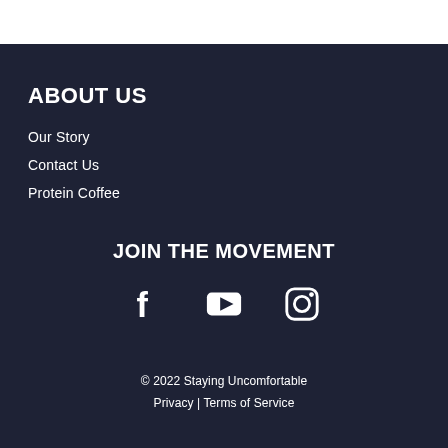ABOUT US
Our Story
Contact Us
Protein Coffee
JOIN THE MOVEMENT
[Figure (other): Social media icons: Facebook, YouTube, Instagram]
© 2022 Staying Uncomfortable
Privacy | Terms of Service